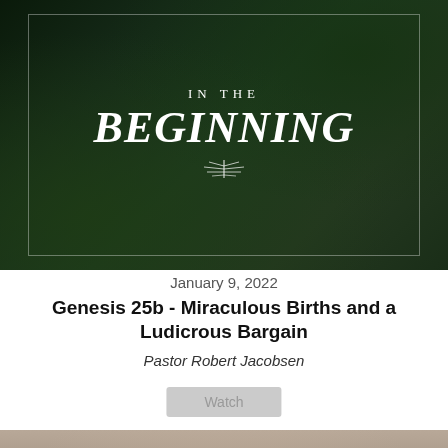[Figure (photo): Dark green foliage background with white text reading 'IN THE BEGINNING' in large italic serif font, with a fern/leaf decoration below, enclosed in a thin white border rectangle]
January 9, 2022
Genesis 25b - Miraculous Births and a Ludicrous Bargain
Pastor Robert Jacobsen
Watch
[Figure (photo): Photo of church worship band on stage with Christmas decorations, people playing instruments, overlaid with partial text 'SERMON' and a teal 'Submit Your Prayer Request' button with praying hands icon]